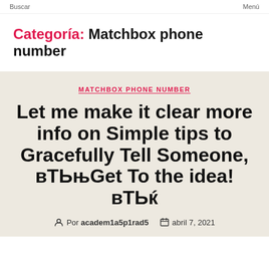Buscar  Menú
Categoría: Matchbox phone number
MATCHBOX PHONE NUMBER
Let me make it clear more info on Simple tips to Gracefully Tell Someone, вТЬњGet To the idea!вТЬќ
Por academ1a5p1rad5   abril 7, 2021